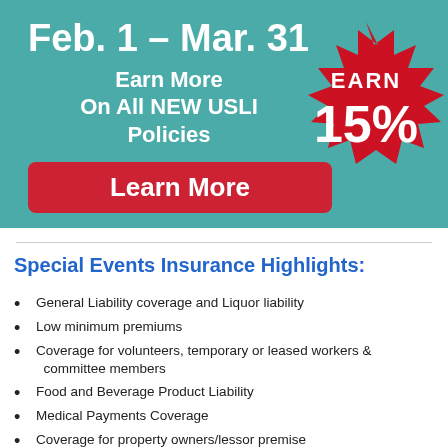[Figure (infographic): Teal promotional banner reading 'Feb. 1 – Mar. 31 Earn More On All NEW USLI Policies' with a red 'Learn More' button and a red starburst badge showing 'EARN 15%']
Special Events Insurance Highlights:
General Liability coverage and Liquor liability
Low minimum premiums
Coverage for volunteers, temporary or leased workers & committee members
Food and Beverage Product Liability
Medical Payments Coverage
Coverage for property owners/lessor premise